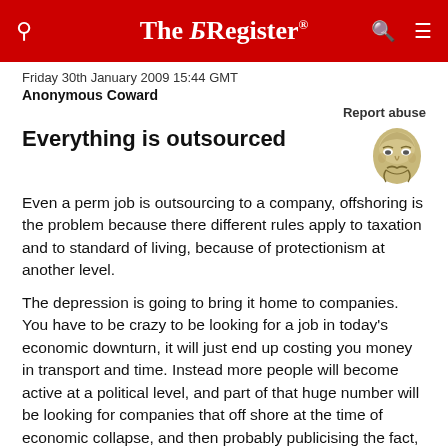The Register
Friday 30th January 2009 15:44 GMT
Anonymous Coward
Report abuse
Everything is outsourced
Even a perm job is outsourcing to a company, offshoring is the problem because there different rules apply to taxation and to standard of living, because of protectionism at another level.
The depression is going to bring it home to companies. You have to be crazy to be looking for a job in today's economic downturn, it will just end up costing you money in transport and time. Instead more people will become active at a political level, and part of that huge number will be looking for companies that off shore at the time of economic collapse, and then probably publicising the fact, that will cause local consumption of that company's product to fall.